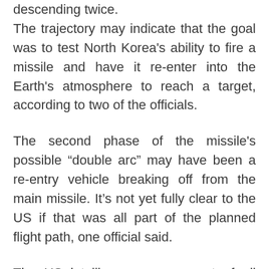descending twice. The trajectory may indicate that the goal was to test North Korea's ability to fire a missile and have it re-enter into the Earth's atmosphere to reach a target, according to two of the officials.
The second phase of the missile's possible “double arc” may have been a re-entry vehicle breaking off from the main missile. It’s not yet fully clear to the US if that was all part of the planned flight path, one official said.
The US intelligence assessment of all three test launches is still in the preliminary stages, the officials emphasized.